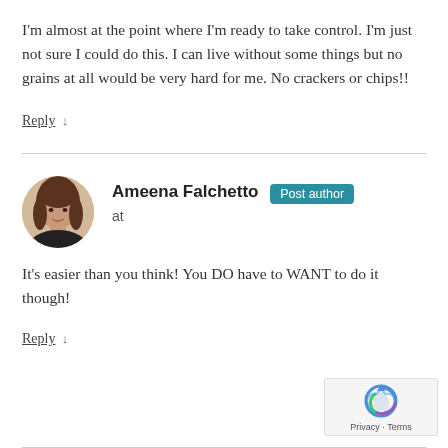I'm almost at the point where I'm ready to take control. I'm just not sure I could do this. I can live without some things but no grains at all would be very hard for me. No crackers or chips!!
Reply ↓
Ameena Falchetto Post author at
It's easier than you think! You DO have to WANT to do it though!
Reply ↓